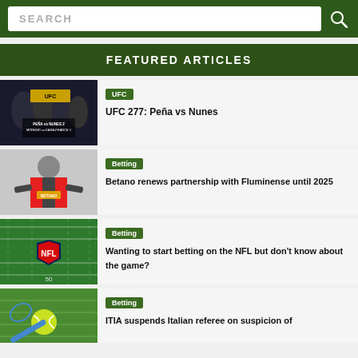SEARCH
FEATURED ARTICLES
[Figure (screenshot): UFC 277 promotional image showing Peña vs Nunes 2 and Moreno vs Kara-France 2 fighters]
UFC – UFC 277: Peña vs Nunes
[Figure (photo): Betano sponsored athlete in Fluminense jersey pointing to Betano logo]
Betting – Betano renews partnership with Fluminense until 2025
[Figure (photo): NFL field with NFL shield logo at midfield]
Betting – Wanting to start betting on the NFL but don't know about the game?
[Figure (photo): Tennis ball on green grass court with racket]
Betting – ITIA suspends Italian referee on suspicion of